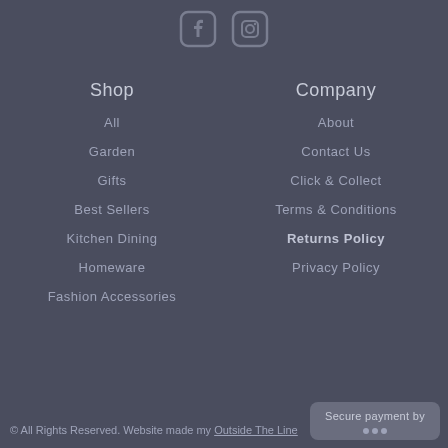[Figure (other): Facebook and Instagram social media icons]
Shop
All
Garden
Gifts
Best Sellers
Kitchen Dining
Homeware
Fashion Accessories
Company
About
Contact Us
Click & Collect
Terms & Conditions
Returns Policy
Privacy Policy
© All Rights Reserved. Website made my Outside The Line
Secure payment by